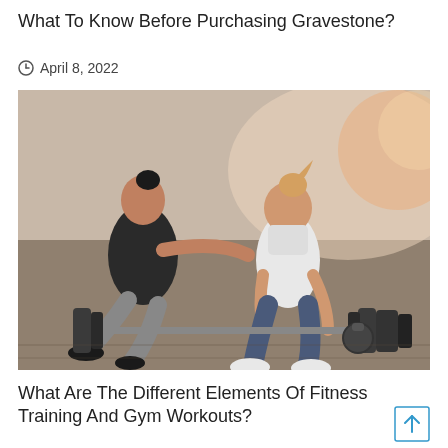What To Know Before Purchasing Gravestone?
April 8, 2022
[Figure (photo): Two women in a gym: one woman is crouching to lift a barbell while another sits beside her appearing to coach or guide her. Warm orange lighting with a dark gym floor.]
What Are The Different Elements Of Fitness Training And Gym Workouts?